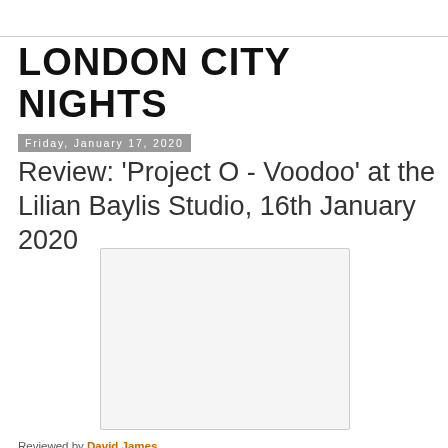LONDON CITY NIGHTS
Review: 'Project O - Voodoo' at the Lilian Baylis Studio, 16th January 2020
Friday, January 17, 2020
[Figure (photo): Placeholder image area for the review article photo]
Reviewed by David James
Rating: 4 out of 5 stars
I thought I'd made a big mistake coming to see Project O's